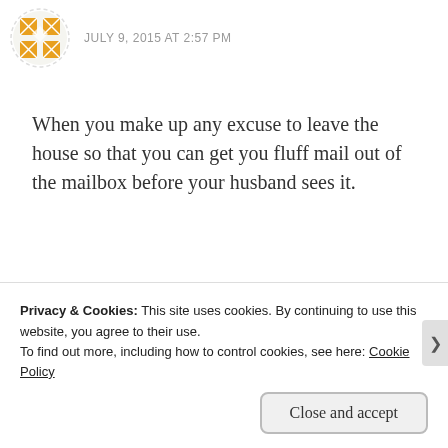JULY 9, 2015 AT 2:57 PM
When you make up any excuse to leave the house so that you can get you fluff mail out of the mailbox before your husband sees it.
Like
Reply
Perla
Privacy & Cookies: This site uses cookies. By continuing to use this website, you agree to their use.
To find out more, including how to control cookies, see here: Cookie Policy
Close and accept